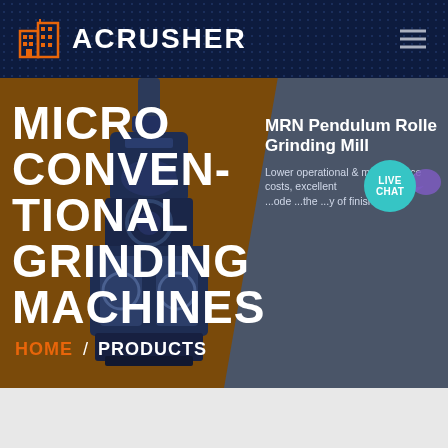ACRUSHER
MICRO CONVENTIONAL GRINDING MACHINES
[Figure (screenshot): MRN Pendulum Roller Grinding Mill industrial machine photo on brown background]
MRN Pendulum Roller Grinding Mill
Lower operational & maintenance costs, excellent ...ode ...the ...y of finished
HOME / PRODUCTS